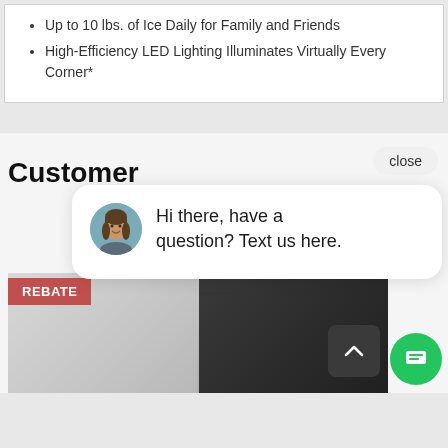Up to 10 lbs. of Ice Daily for Family and Friends
High-Efficiency LED Lighting Illuminates Virtually Every Corner*
Customer
close
[Figure (photo): Chat popup with avatar photo of a woman and text: Hi there, have a question? Text us here.]
REBATE
[Figure (photo): Two side-by-side refrigerators — one stainless steel on the left, one black on the right]
[Figure (other): Scroll-to-top button with upward arrow]